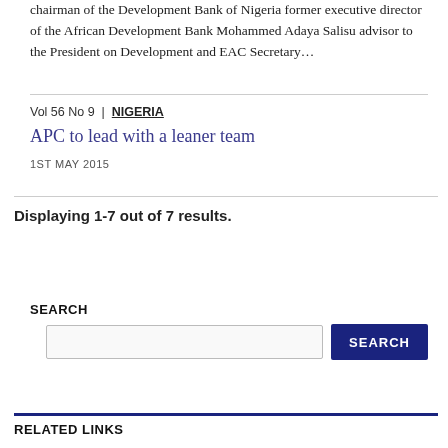chairman of the Development Bank of Nigeria former executive director of the African Development Bank Mohammed Adaya Salisu advisor to the President on Development and EAC Secretary…
Vol 56 No 9 | NIGERIA
APC to lead with a leaner team
1ST MAY 2015
Displaying 1-7 out of 7 results.
SEARCH
RELATED LINKS